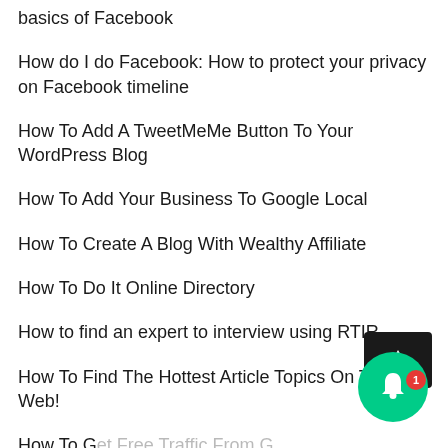basics of Facebook
How do I do Facebook: How to protect your privacy on Facebook timeline
How To Add A TweetMeMe Button To Your WordPress Blog
How To Add Your Business To Google Local
How To Create A Blog With Wealthy Affiliate
How To Do It Online Directory
How to find an expert to interview using RTIR
How To Find The Hottest Article Topics On The Web!
How To Get Free Traffic From G…